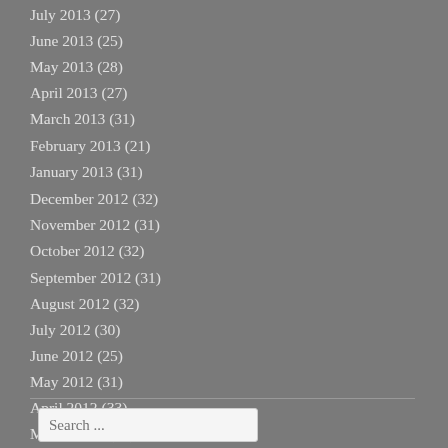July 2013 (27)
June 2013 (25)
May 2013 (28)
April 2013 (27)
March 2013 (31)
February 2013 (21)
January 2013 (31)
December 2012 (32)
November 2012 (31)
October 2012 (32)
September 2012 (31)
August 2012 (32)
July 2012 (30)
June 2012 (25)
May 2012 (31)
April 2012 (33)
March 2012 (37)
February 2012 (6)
Search ...